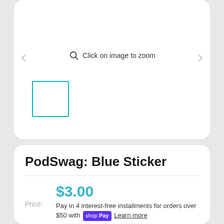[Figure (screenshot): Product image viewer area with zoom icon and 'Click on image to zoom' text, showing a thumbnail with cyan/teal border outline box on white background]
PodSwag: Blue Sticker
$3.00
Price: $3.00 Pay in 4 interest-free installments for orders over $50 with shop Pay Learn more